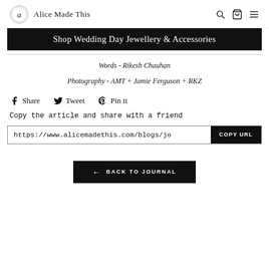Alice Made This
Shop Wedding Day Jewellery & Accessories
Words - Rikesh Chauhan
Photography - AMT + Jamie Ferguson + RKZ
Share  Tweet  Pin it
Copy the article and share with a friend
https://www.alicemadethis.com/blogs/jo  COPY URL
← BACK TO JOURNAL